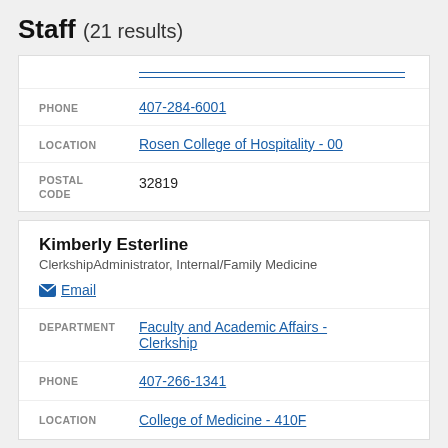Staff (21 results)
| Field | Value |
| --- | --- |
| PHONE | 407-284-6001 |
| LOCATION | Rosen College of Hospitality - 00 |
| POSTAL CODE | 32819 |
Kimberly Esterline
Clerkship Administrator, Internal/Family Medicine
Email
| Field | Value |
| --- | --- |
| DEPARTMENT | Faculty and Academic Affairs - Clerkship |
| PHONE | 407-266-1341 |
| LOCATION | College of Medicine - 410F |